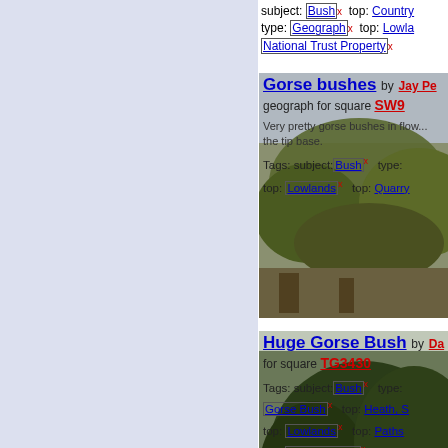[Figure (photo): Partial view of top entry with Bush/Country tags - image cropped at top]
subject: Bush x   top: Country
type: Geograph x   top: Lowlands
National Trust Property x
[Figure (photo): Photo of gorse bushes on a hillside with cloudy sky]
Gorse bushes by Jay Pe... geograph for square SW9... Very pretty gorse bushes in flow... the tip base.
Tags: subject: Bush x   type:   top: Lowlands x   top: Quarry
[Figure (photo): Photo of a huge gorse bush, large sprawling shrub in open landscape]
Huge Gorse Bush by Da... for square TG3430
Tags: subject: Bush x   type:   Gorse Bush x   top: Heath, S   top: Lowlands x   top: Paths   top: Sport, Leisure x   top: Village, Rural Settleme
Pitlurg Bushes by Andre... geograph for square NKC   Across scrub grassland a line o... the route of an abandoned rail...